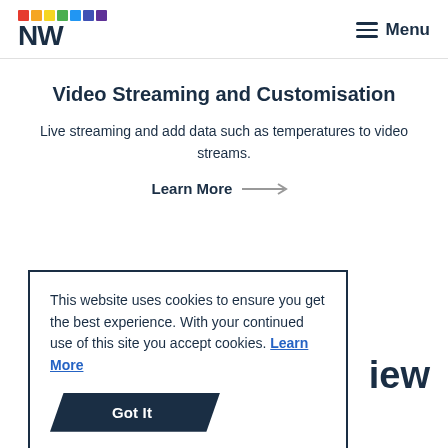NW  Menu
Video Streaming and Customisation
Live streaming and add data such as temperatures to video streams.
Learn More →
This website uses cookies to ensure you get the best experience. With your continued use of this site you accept cookies. Learn More
Got It
iew